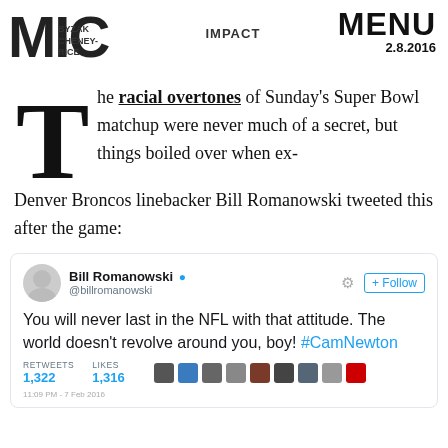MIC | BYZAK CHENEY-RICE | IMPACT | MENU 2.8.2016
The racial overtones of Sunday's Super Bowl matchup were never much of a secret, but things boiled over when ex-Denver Broncos linebacker Bill Romanowski tweeted this after the game:
[Figure (screenshot): Embedded tweet from Bill Romanowski (@billromanowski) with verified badge. Tweet text: 'You will never last in the NFL with that attitude. The world doesn't revolve around you, boy! #CamNewton'. Stats: Retweets 1,322, Likes 1,316. Row of profile thumbnail icons shown. Actions: settings gear icon and Follow button.]